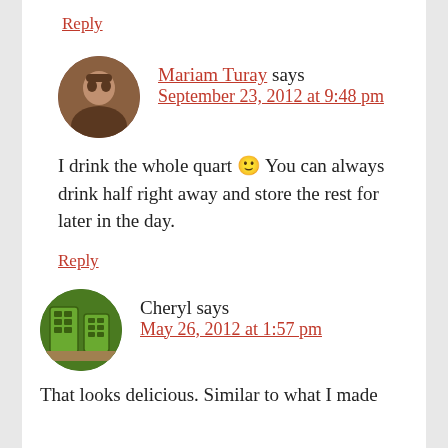Reply
Mariam Turay says
September 23, 2012 at 9:48 pm

I drink the whole quart 🙂 You can always drink half right away and store the rest for later in the day.

Reply
Cheryl says
May 26, 2012 at 1:57 pm

That looks delicious. Similar to what I made